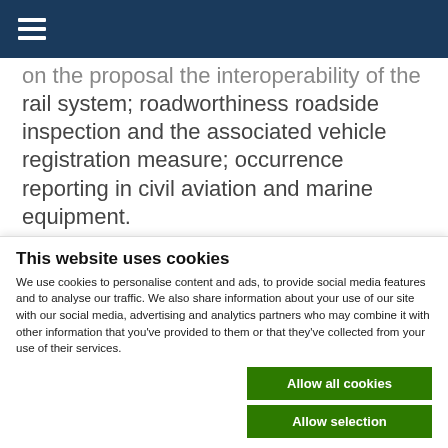on the proposal the interoperability of the rail system; roadworthiness roadside inspection and the associated vehicle registration measure; occurrence reporting in civil aviation and marine equipment. The Commission had originally proposed that the European Rail Agency should undertake all vehicle authorisations on the proposal on the interoperability of the rail
This website uses cookies
We use cookies to personalise content and ads, to provide social media features and to analyse our traffic. We also share information about your use of our site with our social media, advertising and analytics partners who may combine it with other information that you've provided to them or that they've collected from your use of their services.
Allow all cookies
Allow selection